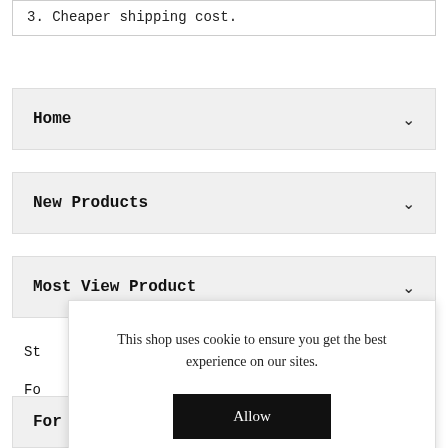3. Cheaper shipping cost.
Home
New Products
Most View Product
St
Fo
For Artists
This shop uses cookie to ensure you get the best experience on our sites.
Allow